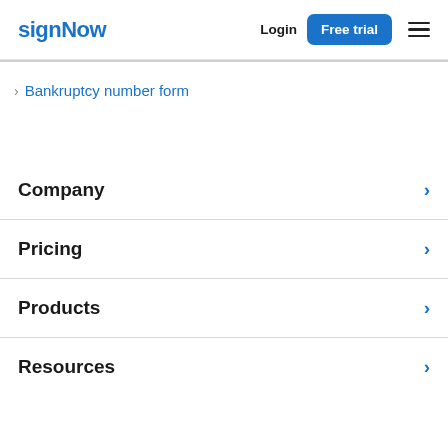signNow — Login — Free trial
Bankruptcy number form
Company
Pricing
Products
Resources